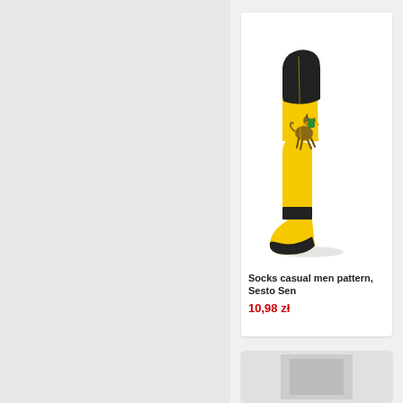[Figure (photo): Yellow sock with black cuff, heel and toe, featuring a cartoon horse/rider character on the side, displayed on white background]
Socks casual men pattern, Sesto Sen...
10,98 zł
[Figure (photo): Partially visible second product card at the bottom of the page]